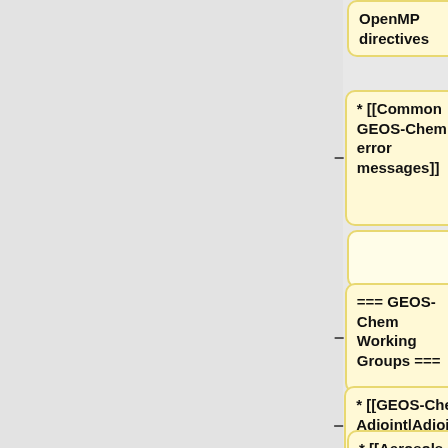[Figure (flowchart): A diff/comparison view showing pairs of yellow (left) and blue (right) rounded boxes with minus and plus operator symbols between columns. Rows show: 1) 'OpenMP directives' yellow box and empty blue box. 2) '* [[Common GEOS-Chem error messages]]' yellow and empty blue box. 3) Two empty boxes. 4) '=== GEOS-Chem Working Groups ===' yellow and '|-valign="top"' blue. 5) '* [[GEOS-Chem Adjoint|Adjoint]]' yellow and '|colspan="3" align="center" bgcolor="#CCCCCC"|'"<font size="+2">[[GEOS-Chem overview]]</font>"'' blue. 6) '* [[Aerosols' yellow (partial) and '|-valign="top"' blue (partial).]